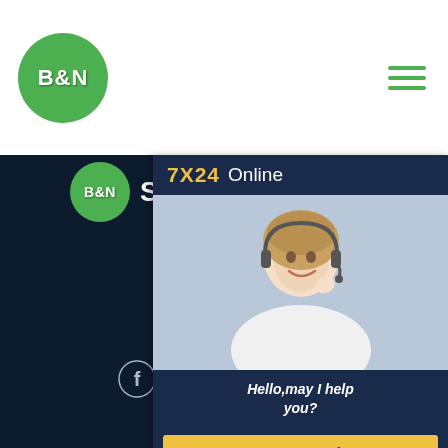[Figure (logo): B&N circular green logo in top-left white header bar]
[Figure (logo): Hamburger menu icon (3 green lines) in top-right of header]
[Figure (logo): B&N Steel Factory logo and heading on dark background]
We are a comprehensive machining service company. We can provide a wide product range of cutting, turning, Bevel, Bending, Drilling and other machining services.
[Figure (infographic): Social media icons: Facebook, Instagram, Twitter, Skype]
Links
About Company
Steel Tube
[Figure (photo): Online chat widget with 7X24 Online header, photo of smiling woman with headset, Hello,may I help you? message, and Get Latest Price button]